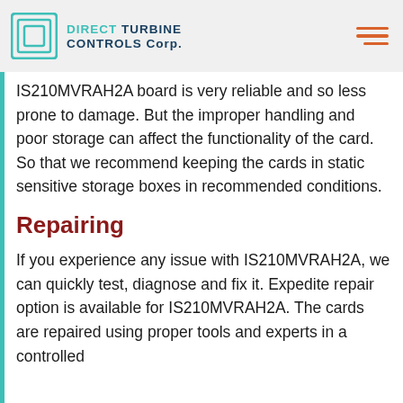DIRECT TURBINE CONTROLS Corp.
IS210MVRAH2A board is very reliable and so less prone to damage. But the improper handling and poor storage can affect the functionality of the card. So that we recommend keeping the cards in static sensitive storage boxes in recommended conditions.
Repairing
If you experience any issue with IS210MVRAH2A, we can quickly test, diagnose and fix it. Expedite repair option is available for IS210MVRAH2A. The cards are repaired using proper tools and experts in a controlled